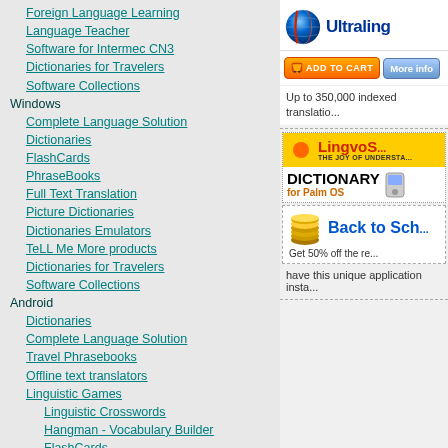Foreign Language Learning
Language Teacher
Software for Intermec CN3
Dictionaries for Travelers
Software Collections
Windows
Complete Language Solution
Dictionaries
FlashCards
PhraseBooks
Full Text Translation
Picture Dictionaries
Dictionaries Emulators
TeLL Me More products
Dictionaries for Travelers
Software Collections
Android
Dictionaries
Complete Language Solution
Travel Phrasebooks
Offline text translators
Linguistic Games
Linguistic Crosswords
Hangman - Vocabulary Builder
FlashCards
Software Collections
Language Teacher
Talking Idioms
Irregular Voice Verbs
U-Learn
MS Smartphone
Translation Software
Dictionaries for Travelers
Symbian Software
Nokia Software
Translation Software
[Figure (logo): Ultralingua globe logo and brand name]
[Figure (infographic): Add to Cart orange button and More info blue button]
Up to 350,000 indexed translatio...
[Figure (infographic): LingvoSoft banner - Dictionary for Palm OS]
[Figure (infographic): Back to School promotion banner - Get 50% off]
have this unique application insta...